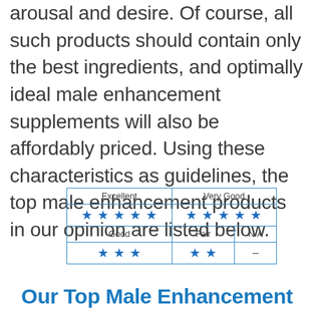arousal and desire. Of course, all such products should contain only the best ingredients, and optimally ideal male enhancement supplements will also be affordably priced. Using these characteristics as guidelines, the top male enhancement products in our opinion are listed below.
| Excellent | Very Good |
| --- | --- |
| ★★★★★ | ★★★★★ |
| Good | Fair | N/A |
| ★★★ | ★★ | – |
Our Top Male Enhancement